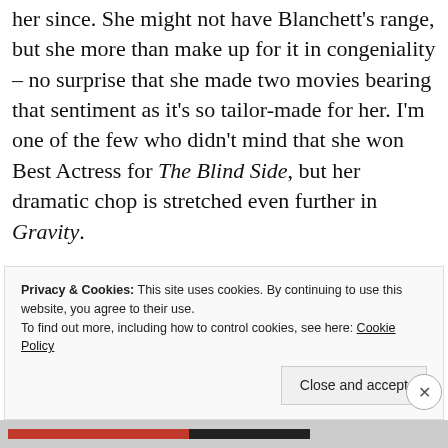her since. She might not have Blanchett's range, but she more than make up for it in congeniality – no surprise that she made two movies bearing that sentiment as it's so tailor-made for her. I'm one of the few who didn't mind that she won Best Actress for The Blind Side, but her dramatic chop is stretched even further in Gravity.
Privacy & Cookies: This site uses cookies. By continuing to use this website, you agree to their use.
To find out more, including how to control cookies, see here: Cookie Policy